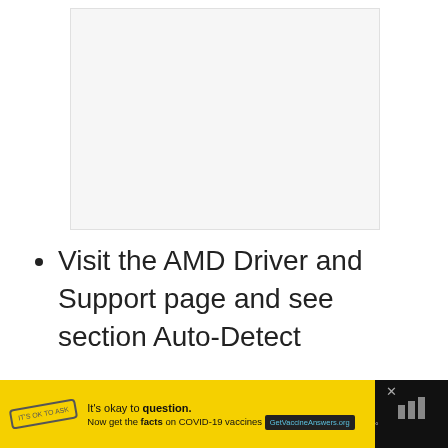[Figure (other): Large empty/blank light gray image area, likely a screenshot or illustration placeholder]
Visit the AMD Driver and Support page and see section Auto-Detect
[Figure (other): Advertisement banner: Yellow background ad with COVID-19 vaccine information from GetVaccineAnswers.org, with close button and Mediavine logo]